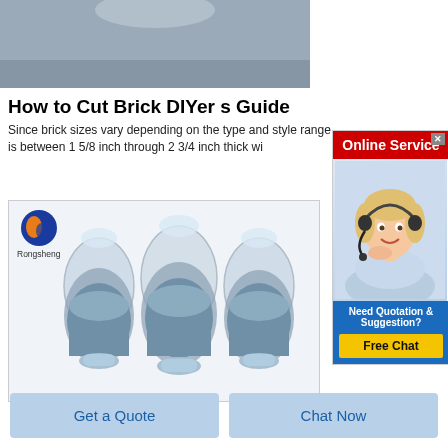[Figure (photo): Top portion of a photo, partially visible, showing a grey background surface]
How to Cut Brick DIYer s Guide
Since brick sizes vary depending on the type and style range is between 1 5/8 inch through 2 3/4 inch thick wi
[Figure (infographic): Online Service advertisement banner with a woman wearing a headset, red header saying Online Service, blue bottom section with Need Quotation & Suggestion? text and a yellow Free Chat button]
[Figure (photo): Product photo showing three egg-shaped glass vases filled with grey/blue granular material, displayed on a white background with Rongsheng logo in top left]
Get a Quote
Chat Now